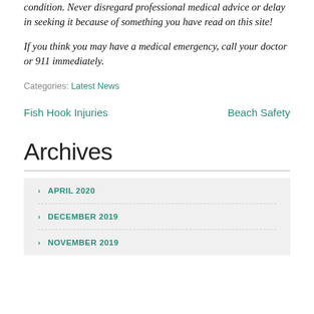condition. Never disregard professional medical advice or delay in seeking it because of something you have read on this site!
If you think you may have a medical emergency, call your doctor or 911 immediately.
Categories: Latest News
Fish Hook Injuries
Beach Safety
Archives
APRIL 2020
DECEMBER 2019
NOVEMBER 2019